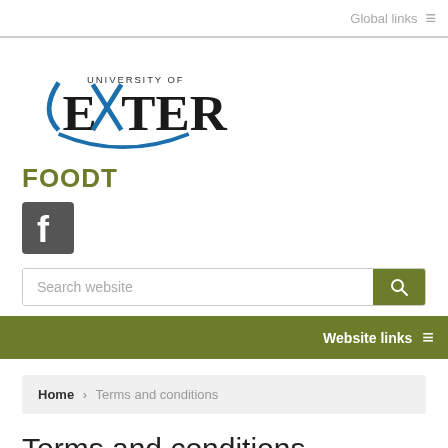Global links ≡
[Figure (logo): University of Exeter logo with blue stylized X and serif text]
FOODT
[Figure (logo): Facebook icon square with white f on dark grey background]
Search website
Website links ≡
Home > Terms and conditions
Terms and conditions
You are being invited to take part in a research study that ...